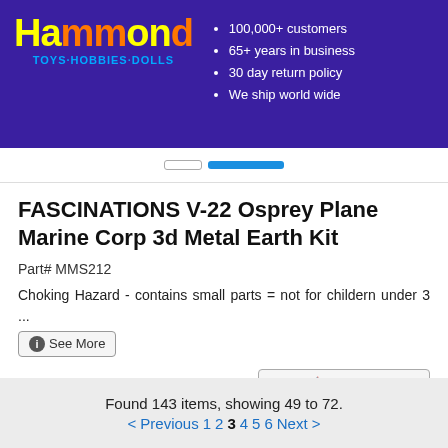Hammond TOYS·HOBBIES·DOLLS | 100,000+ customers | 65+ years in business | 30 day return policy | We ship world wide
FASCINATIONS V-22 Osprey Plane Marine Corp 3d Metal Earth Kit
Part# MMS212
Choking Hazard - contains small parts = not for childern under 3 ... See More
$14.99
View Cart | Check Out
Found 143 items, showing 49 to 72. < Previous 1 2 3 4 5 6 Next >